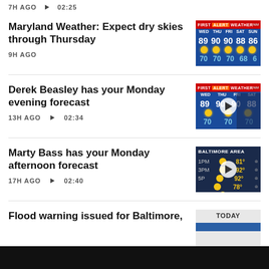7H AGO ▶ 02:25
Maryland Weather: Expect dry skies through Thursday
9H AGO
[Figure (screenshot): First Alert Weather forecast board showing WED THU FRI SAT SUN with temperatures 89 90 90 88 86 high and 70 70 70 68 6 low]
Derek Beasley has your Monday evening forecast
13H AGO ▶ 02:34
[Figure (screenshot): First Alert Weather forecast board showing WED THU FRI SAT with temperatures 89 90 90 88 high and 70 70 70 low with play button overlay]
Marty Bass has your Monday afternoon forecast
17H AGO ▶ 02:40
[Figure (screenshot): Baltimore Area hourly forecast showing 1PM 81°, 3PM 92°, 5PM 92°, 7PM 78°, 9PM 74° with play button overlay]
Flood warning issued for Baltimore,
[Figure (screenshot): Today weather thumbnail with blue banner]